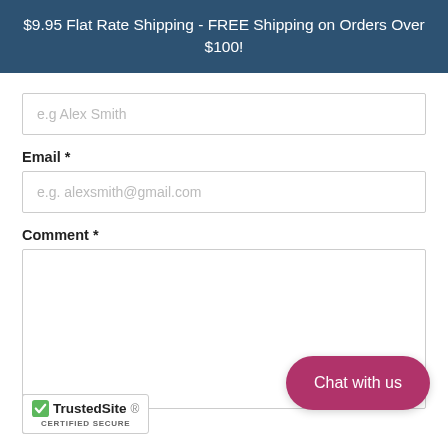$9.95 Flat Rate Shipping - FREE Shipping on Orders Over $100!
Email *
Comment *
Submit
[Figure (logo): TrustedSite Certified Secure badge with green checkmark]
Chat with us